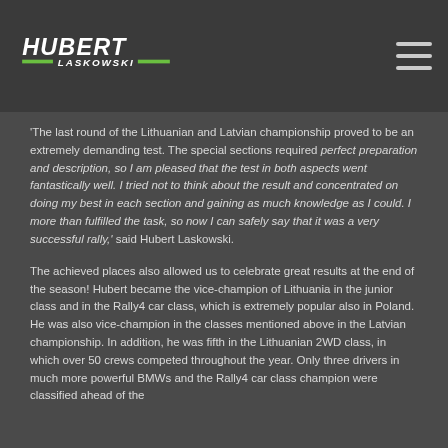[Figure (logo): Hubert Laskowski logo: white stylized italic text 'HUBERT' above 'LASKOWSKI' in a dark header bar with green accent bars]
'The last round of the Lithuanian and Latvian championship proved to be an extremely demanding test. The special sections required perfect preparation and description, so I am pleased that the test in both aspects went fantastically well. I tried not to think about the result and concentrated on doing my best in each section and gaining as much knowledge as I could. I more than fulfilled the task, so now I can safely say that it was a very successful rally,' said Hubert Laskowski.
The achieved places also allowed us to celebrate great results at the end of the season! Hubert became the vice-champion of Lithuania in the junior class and in the Rally4 car class, which is extremely popular also in Poland. He was also vice-champion in the classes mentioned above in the Latvian championship. In addition, he was fifth in the Lithuanian 2WD class, in which over 50 crews competed throughout the year. Only three drivers in much more powerful BMWs and the Rally4 car class champion were classified ahead of the